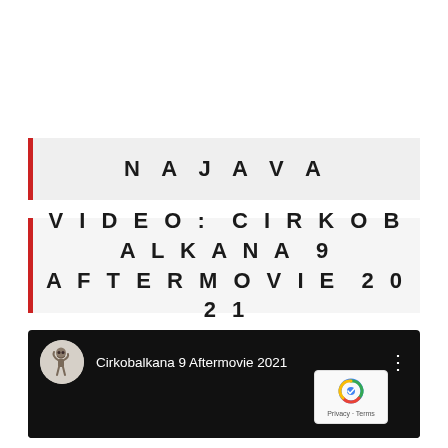NAJAVA
VIDEO: CIRKOBALKANA 9 AFTERMOVIE 2021
[Figure (screenshot): YouTube video embed showing 'Cirkobalkana 9 Aftermovie 2021' with a skeleton logo avatar on a black background, and a Privacy·Terms reCAPTCHA badge in the bottom right corner.]